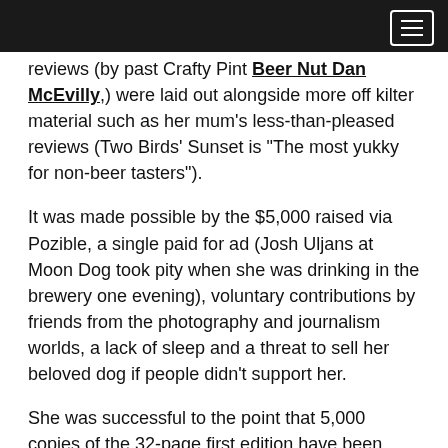reviews (by past Crafty Pint Beer Nut Dan McEvilly,) were laid out alongside more off kilter material such as her mum's less-than-pleased reviews (Two Birds' Sunset is "The most yukky for non-beer tasters").
It was made possible by the $5,000 raised via Pozible, a single paid for ad (Josh Uljans at Moon Dog took pity when she was drinking in the brewery one evening), voluntary contributions by friends from the photography and journalism worlds, a lack of sleep and a threat to sell her beloved dog if people didn't support her.
She was successful to the point that 5,000 copies of the 32-page first edition have been printed and are available free. She plans to keep the magazine free too, hopefully by attracting more paid ads, and intends